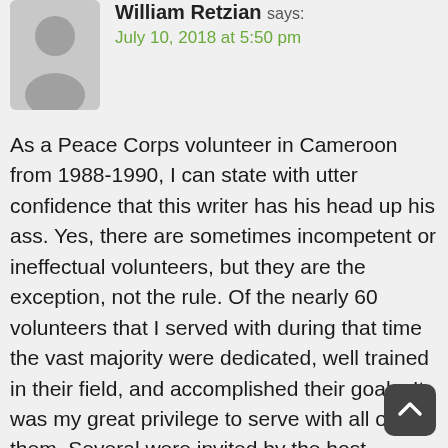[Figure (illustration): Gray silhouette avatar of a person, used as a comment profile picture]
William Retzian says:
July 10, 2018 at 5:50 pm
As a Peace Corps volunteer in Cameroon from 1988-1990, I can state with utter confidence that this writer has his head up his ass. Yes, there are sometimes incompetent or ineffectual volunteers, but they are the exception, not the rule. Of the nearly 60 volunteers that I served with during that time the vast majority were dedicated, well trained in their field, and accomplished their goals. It was my great privilege to serve with all of them. Several were invited by the host country to stay for an additional year and one was invited for 3 additional